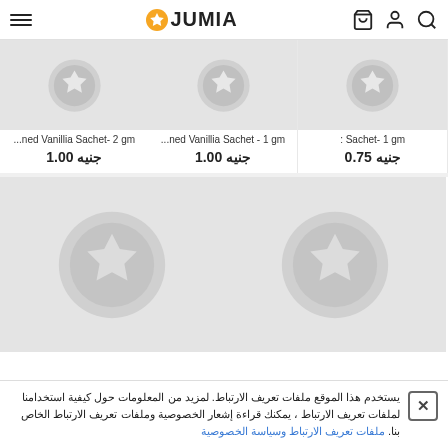JUMIA
[Figure (screenshot): Three product cards showing Vanillia Sachet items with placeholder images and prices in Egyptian Pounds]
Sachet- 1 gm | جنيه 0.75
...ned Vanillia Sachet - 1 gm | جنيه 1.00
...ned Vanillia Sachet- 2 gm | جنيه 1.00
[Figure (screenshot): Two large product cards with placeholder star images]
يستخدم هذا الموقع ملفات تعريف الارتباط. لمزيد من المعلومات حول كيفية استخدامنا لملفات تعريف الارتباط ، يمكنك قراءة إشعار الخصوصية وملفات تعريف الارتباط الخاص بنا. ملفات تعريف الارتباط وسياسة الخصوصية